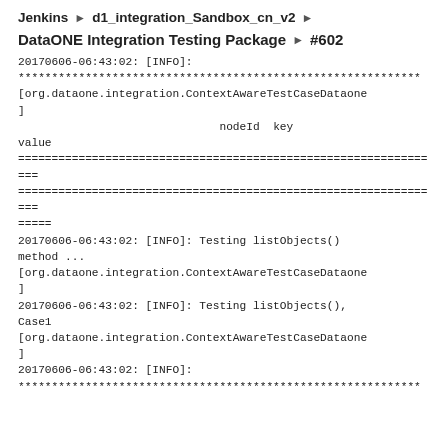Jenkins ▶ d1_integration_Sandbox_cn_v2 ▶
DataONE Integration Testing Package ▶ #602
20170606-06:43:02: [INFO]:
************************************************************
[org.dataone.integration.ContextAwareTestCaseDataone
]
                              nodeId  key
value
================================================================
================================================================
=====
20170606-06:43:02: [INFO]: Testing listObjects() method ...
[org.dataone.integration.ContextAwareTestCaseDataone
]
20170606-06:43:02: [INFO]: Testing listObjects(), Case1
[org.dataone.integration.ContextAwareTestCaseDataone
]
20170606-06:43:02: [INFO]:
************************************************************